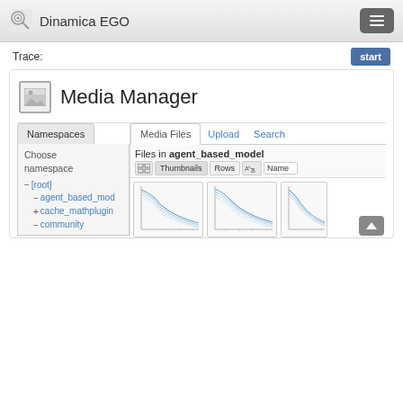Dinamica EGO
Trace:
start
Media Manager
Namespaces
Media Files  Upload  Search
Choose namespace
Files in agent_based_model
Thumbnails  Rows  Name
- [root]
- agent_based_mod
+ cache_mathplugin
- community
[Figure (continuous-plot): Thumbnail of a line chart showing multiple curves decreasing over time]
[Figure (continuous-plot): Thumbnail of a line chart showing multiple curves decreasing over time]
[Figure (continuous-plot): Thumbnail of a line chart (partially visible)]